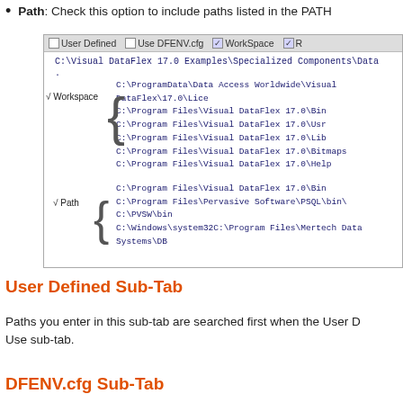Path: Check this option to include paths listed in the PATH...
[Figure (screenshot): Screenshot showing a path configuration dialog with tab bar (User Defined, Use DFENV.cfg, WorkSpace, R...) and two sections: Workspace with multiple C:\Program Files\Visual DataFlex 17.0 paths, and Path section with C:\Program Files\Visual DataFlex 17.0\Bin, C:\Program Files\Pervasive Software\PSQL\bin\, C:\PVSW\bin, C:\Windows\system32C:\Program Files\Mertech Data Systems\DB...]
User Defined Sub-Tab
Paths you enter in this sub-tab are searched first when the User D... Use sub-tab.
DFENV.cfg Sub-Tab